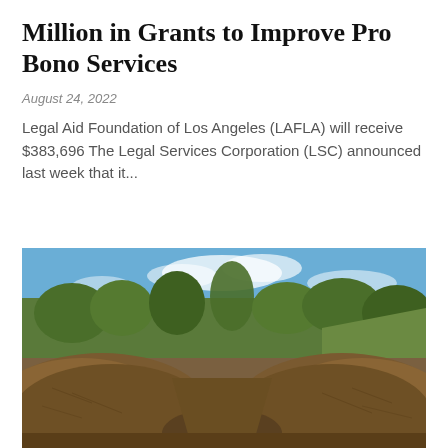Million in Grants to Improve Pro Bono Services
August 24, 2022
Legal Aid Foundation of Los Angeles (LAFLA) will receive $383,696 The Legal Services Corporation (LSC) announced last week that it...
[Figure (photo): Outdoor photo showing large mounds of wood chips or mulch in the foreground with trees and a blue sky with light clouds in the background.]